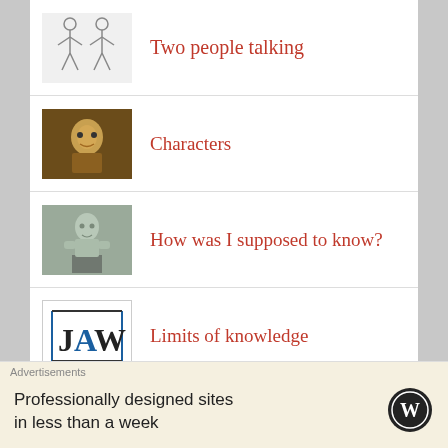Two people talking
Characters
How was I supposed to know?
Limits of knowledge
Explore the Archives
Select Month
Advertisements
Professionally designed sites in less than a week